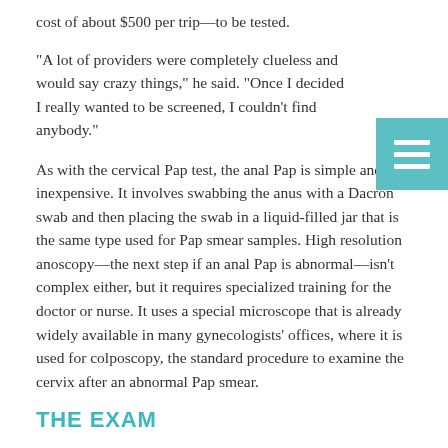cost of about $500 per trip—to be tested.
“A lot of providers were completely clueless and would say crazy things,” he said. “Once I decided I really wanted to be screened, I couldn’t find anybody.”
As with the cervical Pap test, the anal Pap is simple and inexpensive. It involves swabbing the anus with a Dacron swab and then placing the swab in a liquid-filled jar that is the same type used for Pap smear samples. High resolution anoscopy—the next step if an anal Pap is abnormal—isn’t complex either, but it requires specialized training for the doctor or nurse. It uses a special microscope that is already widely available in many gynecologists’ offices, where it is used for colposcopy, the standard procedure to examine the cervix after an abnormal Pap smear.
THE EXAM